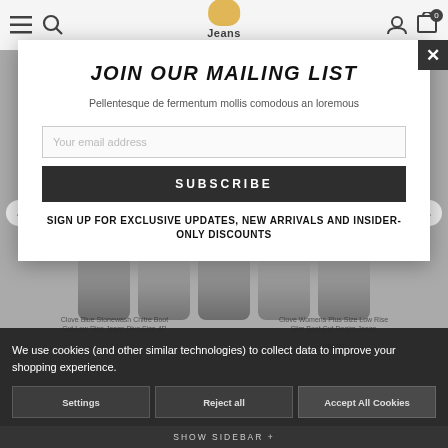Jeans Oasis
JOIN OUR MAILING LIST
Pellentesque de fermentum mollis comodous an loremous
Your email address
SUBSCRIBE
SIGN UP FOR EXCLUSIVE UPDATES, NEW ARRIVALS AND INSIDER-ONLY DISCOUNTS
Clove Blue Stonewash Chitre Boot Cut Low Rise Jeans Plus Size 4R
Clove Womens Plus Size Low Rise Slim Boot Cut Denim Jeans
24
£24.97
We use cookies (and other similar technologies) to collect data to improve your shopping experience.
Settings
Reject all
Accept All Cookies
SHOW SIDEBAR +